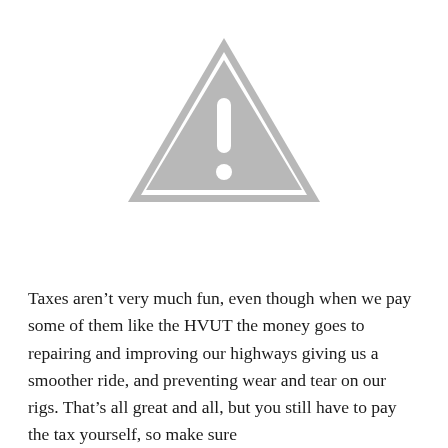[Figure (illustration): A grey warning/caution triangle icon with an exclamation mark inside, displayed on a white background.]
Taxes aren't very much fun, even though when we pay some of them like the HVUT the money goes to repairing and improving our highways giving us a smoother ride, and preventing wear and tear on our rigs. That's all great and all, but you still have to pay the tax yourself, so make sure